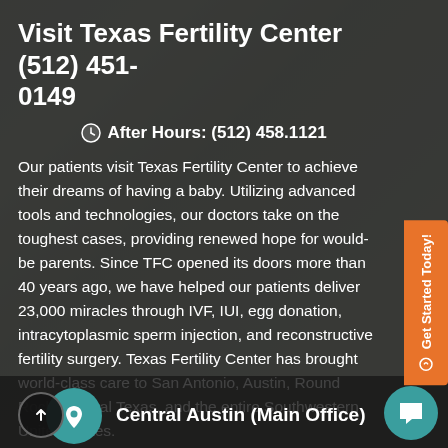Visit Texas Fertility Center   (512) 451-0149
After Hours: (512) 458.1121
Our patients visit Texas Fertility Center to achieve their dreams of having a baby. Utilizing advanced tools and technologies, our doctors take on the toughest cases, providing renewed hope for would-be parents. Since TFC opened its doors more than 40 years ago, we have helped our patients deliver 23,000 miracles through IVF, IUI, egg donation, intracytoplasmic sperm injection, and reconstructive fertility surgery. Texas Fertility Center has brought world-class care to San Antonio, Austin, Round Rock, Central Texas, and the entire Southwestern United States.
Central Austin (Main Office)